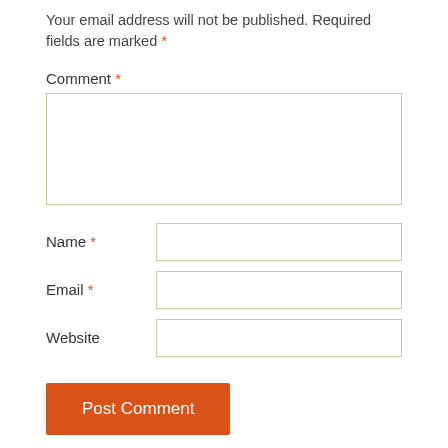Your email address will not be published. Required fields are marked *
Comment *
Name *
Email *
Website
Post Comment
Notify me of new comments via email.
Notify me of new posts via email.